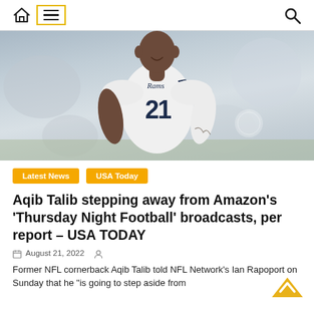Navigation bar with home icon, menu (hamburger), and search icon
[Figure (photo): Football player wearing LA Rams white jersey #21, smiling, at practice or game, bokeh background]
Latest News   USA Today
Aqib Talib stepping away from Amazon's 'Thursday Night Football' broadcasts, per report – USA TODAY
August 21, 2022
Former NFL cornerback Aqib Talib told NFL Network's Ian Rapoport on Sunday that he "is going to step aside from